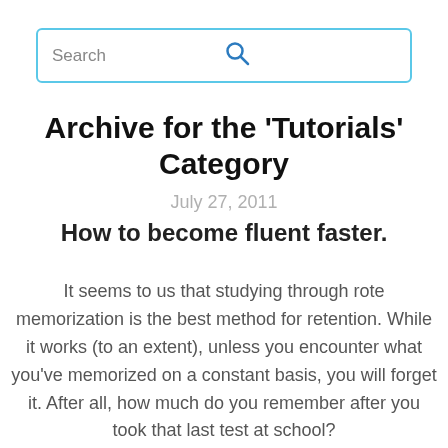[Figure (other): Search bar with placeholder text 'Search' and a blue magnifying glass icon, with a light blue border]
Archive for the 'Tutorials' Category
July 27, 2011
How to become fluent faster.
It seems to us that studying through rote memorization is the best method for retention. While it works (to an extent), unless you encounter what you've memorized on a constant basis, you will forget it. After all, how much do you remember after you took that last test at school?